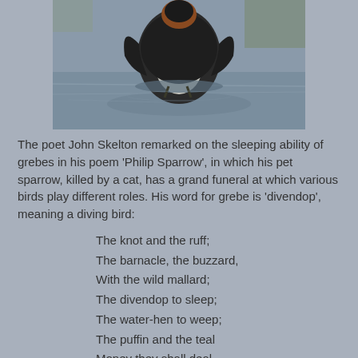[Figure (photo): A grebe bird on water, viewed from behind, with wings slightly raised. The bird has dark plumage on its back and white underneath, with a reddish-orange patch on the head. It is swimming on a calm lake or pond.]
The poet John Skelton remarked on the sleeping ability of grebes in his poem 'Philip Sparrow', in which his pet sparrow, killed by a cat, has a grand funeral at which various birds play different roles. His word for grebe is 'divendop', meaning a diving bird:
The knot and the ruff;
The barnacle, the buzzard,
With the wild mallard;
The divendop to sleep;
The water-hen to weep;
The puffin and the teal
Money they shall deal